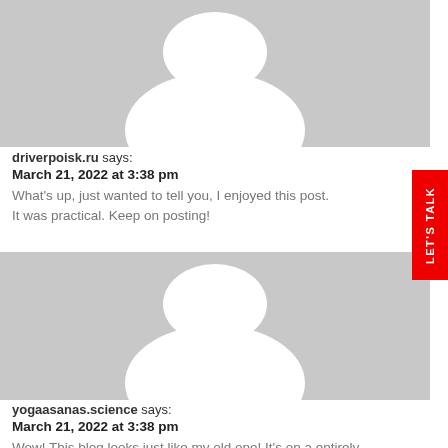[Figure (illustration): Generic user avatar placeholder (grey background with white silhouette of a person) for driverpoisk.ru comment]
driverpoisk.ru says:
March 21, 2022 at 3:38 pm
What's up, just wanted to tell you, I enjoyed this post.
It was practical. Keep on posting!
[Figure (illustration): Generic user avatar placeholder (grey background with white silhouette of a person) for yogaasanas.science comment]
yogaasanas.science says:
March 21, 2022 at 3:38 pm
Wow! This blog looks just like my old one! It's on a entirely different topic but it has pretty much the same layout and design. Wonderful